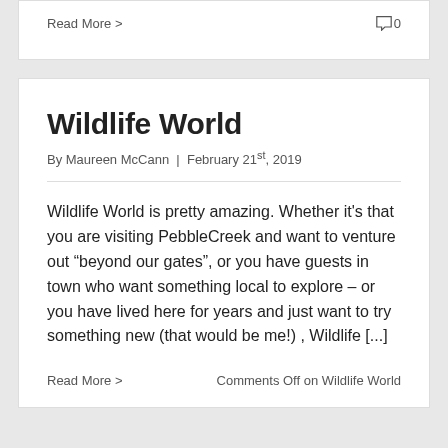Read More >
0
Wildlife World
By Maureen McCann  |  February 21st, 2019
Wildlife World is pretty amazing. Whether it's that you are visiting PebbleCreek and want to venture out “beyond our gates”, or you have guests in town who want something local to explore – or you have lived here for years and just want to try something new (that would be me!) , Wildlife [...]
Read More >
Comments Off on Wildlife World